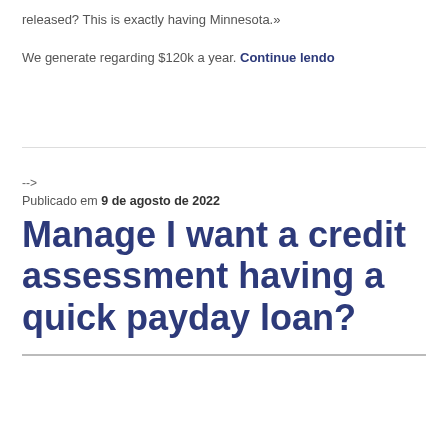released? This is exactly having Minnesota.»
We generate regarding $120k a year. Continue lendo
-->
Publicado em 9 de agosto de 2022
Manage I want a credit assessment having a quick payday loan?